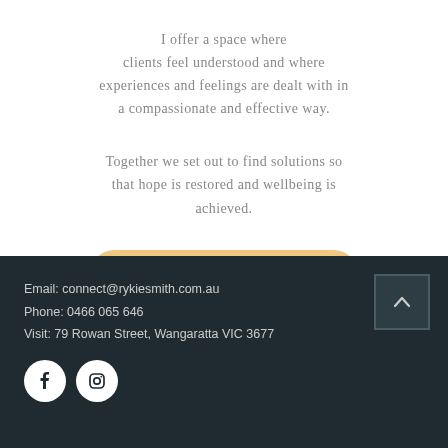I offer a space where clients feel understood and where experiences and feelings are dealt with in a compassionate and effective way.
Together we set out to find solutions so that hope is restored and wellbeing is achieved.
[Figure (other): Button with text ACHIEVE WELLBEING in gold/tan rounded rectangle]
Email: connect@rykiesmith.com.au
Phone: 0466 065 646
Visit: 79 Rowan Street, Wangaratta VIC 3677